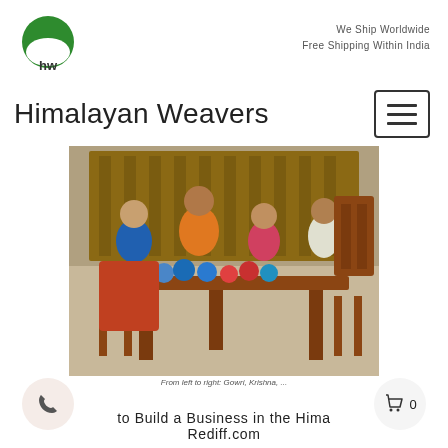[Figure (logo): Himalayan Weavers logo: green circle with white arch/mountain shape and 'hw' text below]
We Ship Worldwide
Free Shipping Within India
Himalayan Weavers
[Figure (photo): Photo of four women sitting around a wooden table working with colorful yarn/wool balls. Women are dressed in traditional colorful clothing. Caption reads: From left to right: Gowri, Krishna, ...]
From left to right: Gowri, Krishna, ...
to Build a Business in the Hima
Rediff.com